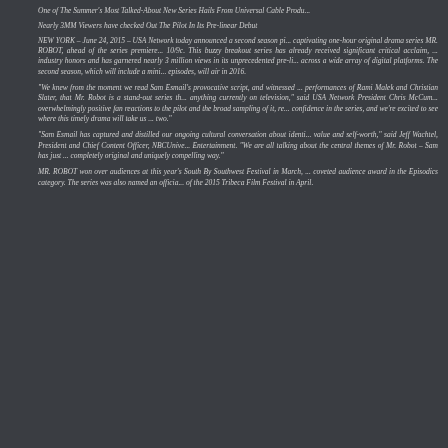One of The Summer's Most Talked-About New Series Hails From Universal Cable Produ...
Nearly 3MM Viewers have checked Out The Pilot In Its Pre-linear Debut
NEW YORK – June 24, 2015 – USA Network today announced a second season pi... captivating one-hour original drama series MR. ROBOT, ahead of the series premiere... 10/9c. This buzzy breakout series has already received significant critical acclaim, ... industry honors and has garnered nearly 3 million views in its unprecedented pre-li... across a wide array of digital platforms. The second season, which will include a mini... episodes, will air in 2016.
"We knew from the moment we read Sam Esmail's provocative script, and witnessed ... performances of Rami Malek and Christian Slater, that Mr. Robot is a stand-out series th... anything currently on television," said USA Network President Chris McCum... overwhelmingly positive fan reactions to the pilot and the broad sampling of it, re... confidence in the series, and we're excited to see where this timely drama will take us ... two."
"Sam Esmail has captured and distilled our ongoing cultural conversation about identi... value and self-worth," said Jeff Wachtel, President and Chief Content Officer, NBCUnive... Entertainment. "We are all talking about the central themes of Mr. Robot – Sam has just ... completely original and uniquely compelling way."
MR. ROBOT won over audiences at this year's South By Southwest Festival in March, w... coveted audience award in the Episodics category. The series was also named an officia... of the 2015 Tribeca Film Festival in April.